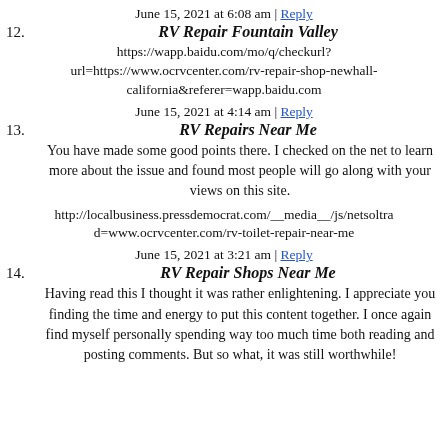June 15, 2021 at 6:08 am | Reply
12. RV Repair Fountain Valley
https://wapp.baidu.com/mo/q/checkurl?url=https://www.ocrvcenter.com/rv-repair-shop-newhall-california&referer=wapp.baidu.com
June 15, 2021 at 4:14 am | Reply
13. RV Repairs Near Me
You have made some good points there. I checked on the net to learn more about the issue and found most people will go along with your views on this site.
http://localbusiness.pressdemocrat.com/__media__/js/netsoltrad=www.ocrvcenter.com/rv-toilet-repair-near-me
June 15, 2021 at 3:21 am | Reply
14. RV Repair Shops Near Me
Having read this I thought it was rather enlightening. I appreciate you finding the time and energy to put this content together. I once again find myself personally spending way too much time both reading and posting comments. But so what, it was still worthwhile!